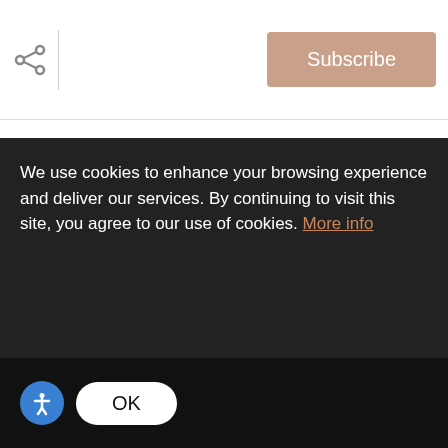[Figure (screenshot): Share icon (arrows) and Subscribe button in tan/beige color in the top header bar]
25358 Stanley Park Road
http://bit.ly/25358StanleyParkRd
We use cookies to enhance your browsing experience and deliver our services. By continuing to visit this site, you agree to our use of cookies. More info
OK